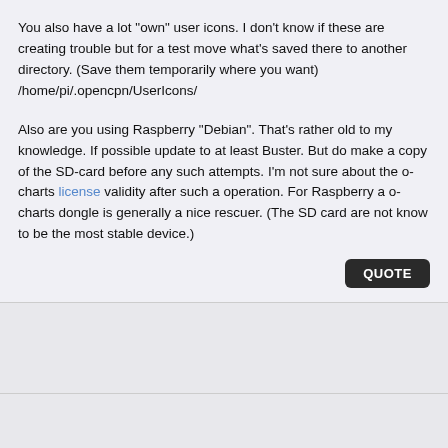You also have a lot "own" user icons. I don't know if these are creating trouble but for a test move what's saved there to another directory. (Save them temporarily where you want)
/home/pi/.opencpn/UserIcons/
Also are you using Raspberry "Debian". That's rather old to my knowledge. If possible update to at least Buster. But do make a copy of the SD-card before any such attempts. I'm not sure about the o-charts license validity after such a operation. For Raspberry a o-charts dongle is generally a nice rescuer. (The SD card are not know to be the most stable device.)